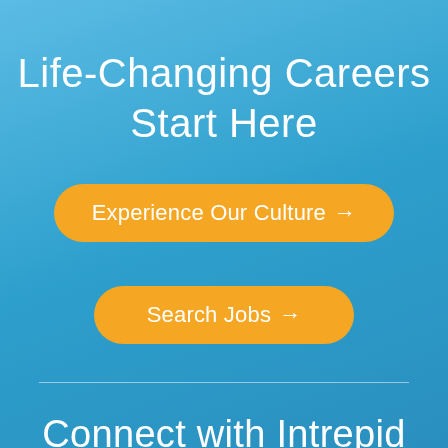Life-Changing Careers Start Here
Experience Our Culture →
Search Jobs →
Connect with Intrepid USA Recruiting